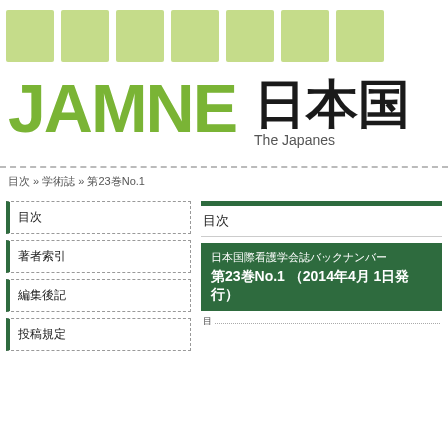[Figure (illustration): Top banner with light green squares arranged in a row]
JAMNE 日本国 The Japanese
目次 » 学術誌 » 第23巻No.1
目次
著者索引
編集後記
投稿規定
目次
日本国際看護学会誌バックナンバー 第23巻No.1 （2014年4月 1日発行）